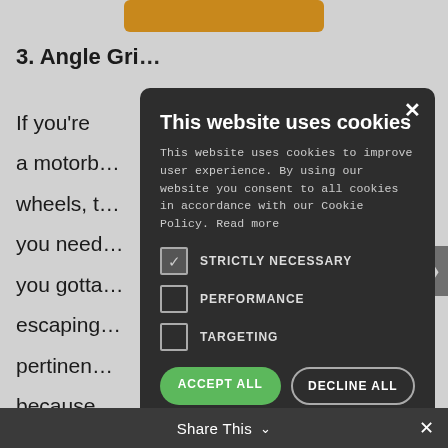[Figure (screenshot): Orange button partially visible at top of page]
3. Angle Gri…
If you're … a motorb… wheels, t… you need… you gotta… escaping… pertinen… because… We've us… wood, metal, and plastic. With the
[Figure (screenshot): Cookie consent modal dialog with dark background. Title: 'This website uses cookies'. Description text about cookies. Checkboxes for Strictly Necessary (checked), Performance (unchecked), Targeting (unchecked). Accept All (green) and Decline All (white outline) buttons. Show Details link. Powered by Cookie Script footer.]
Share This ∨